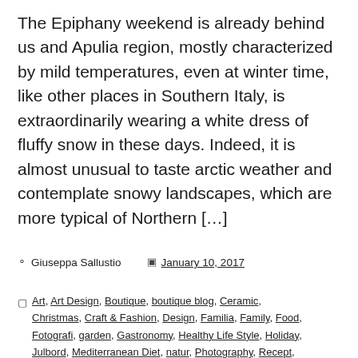The Epiphany weekend is already behind us and Apulia region, mostly characterized by mild temperatures, even at winter time, like other places in Southern Italy, is extraordinarily wearing a white dress of fluffy snow in these days. Indeed, it is almost unusual to taste arctic weather and contemplate snowy landscapes, which are more typical of Northern […]
Giuseppa Sallustio    January 10, 2017
Art, Art Design, Boutique, boutique blog, Ceramic, Christmas, Craft & Fashion, Design, Familia, Family, Food, Fotografi, garden, Gastronomy, Healthy Life Style, Holiday, Julbord, Mediterranean Diet, natur, Photography, Recept, Recipes, Såser, Shop, snack, Travel, trädgård, Trädgårdsvänner, Uncategorized